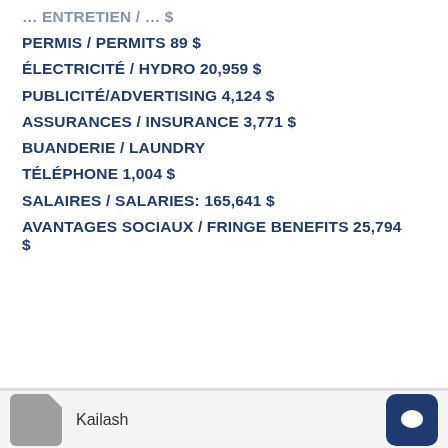PERMIS / PERMITS 89 $
ÉLECTRICITÉ / HYDRO 20,959 $
PUBLICITÉ/ADVERTISING 4,124 $
ASSURANCES / INSURANCE 3,771 $
BUANDERIE / LAUNDRY
TÉLÉPHONE 1,004 $
SALAIRES / SALARIES: 165,641 $
AVANTAGES SOCIAUX / FRINGE BENEFITS 25,794 $
Kailash